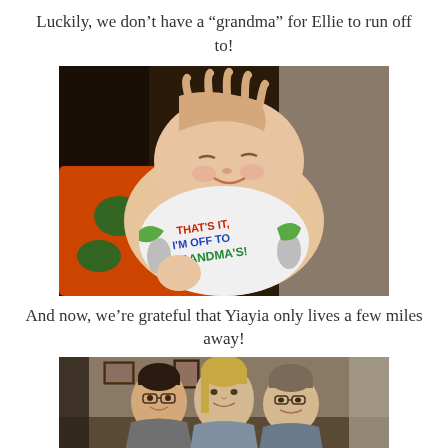Luckily, we don’t have a “grandma” for Ellie to run off to!
[Figure (photo): A sleeping baby wearing a onesie that reads 'THAT'S IT, I'M OFF TO GRANDMA'S!' with a hand resting on the baby's head, colorful blankets in background]
And now, we’re grateful that Yiayia only lives a few miles away!
[Figure (photo): Three women posing together indoors, smiling at the camera]